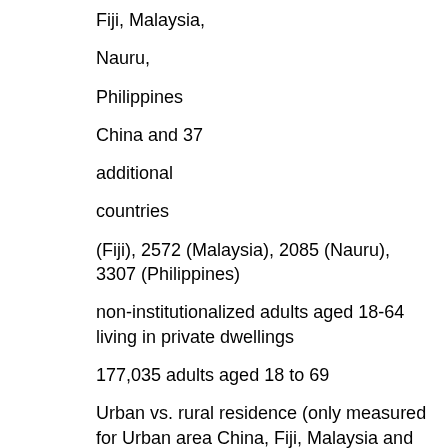Fiji, Malaysia,
Nauru,
Philippines
China and 37
additional
countries
(Fiji), 2572 (Malaysia), 2085 (Nauru), 3307 (Philippines)
non-institutionalized adults aged 18-64 living in private dwellings
177,035 adults aged 18 to 69
Urban vs. rural residence (only measured for Urban area China, Fiji, Malaysia and Australia). Definition of urban based on level of economic development (China)
Climate temp web site of world temperatures, World Bank Database, CIA World Factbook
Average yearly temperature in capital city, percentage